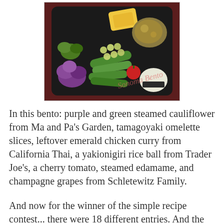[Figure (photo): Overhead photo of a bento box tray filled with various foods including purple and green cauliflower, tamagoyaki omelette slices, edamame, champagne grapes, a cherry tomato, a rice ball, and chicken curry, with watermark text 'Sonoma Bento']
In this bento: purple and green steamed cauliflower from Ma and Pa's Garden, tamagoyaki omelette slices, leftover emerald chicken curry from California Thai, a yakionigiri rice ball from Trader Joe's, a cherry tomato, steamed edamame, and champagne grapes from Schletewitz Family.
And now for the winner of the simple recipe contest... there were 18 different entries. And the randomly selected winner is...
[Figure (screenshot): True Random Number Generator widget showing a blue/lavender header with 'True Random Number Generator' text, and a white body section with 'Min:' label and input field showing '1']